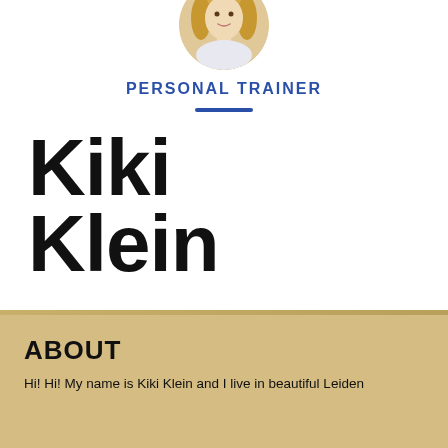[Figure (photo): Circular headshot photo of Kiki Klein, a woman with blonde hair, cropped at top of page]
PERSONAL TRAINER
Kiki Klein
ABOUT
Hi! Hi! My name is Kiki Klein and I live in beautiful Leiden